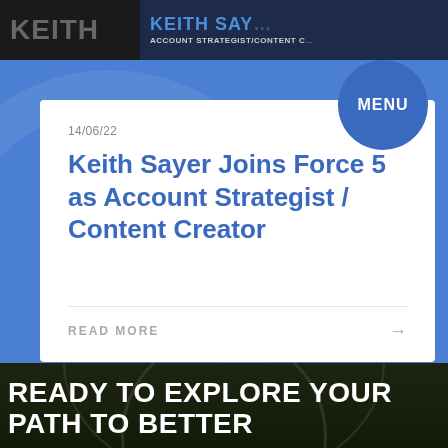[Figure (screenshot): Dark banner with 'KEITH SAY' text in blue and 'ACCOUNT STRATEGIST/CONTENT C' subtitle on dark background]
MENU
14/06/22
Keith Sayer Joins Force 5 as Account Strategist / Content Creator
READ MORE →
[Figure (photo): Dark outdoor photo showing a person with a phone, green foliage in background]
READY TO EXPLORE YOUR PATH TO BETTER